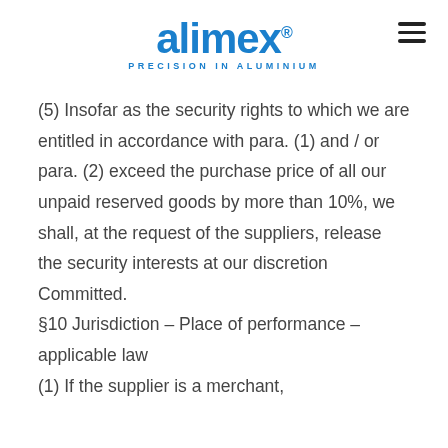alimex® PRECISION IN ALUMINIUM
(5) Insofar as the security rights to which we are entitled in accordance with para. (1) and / or para. (2) exceed the purchase price of all our unpaid reserved goods by more than 10%, we shall, at the request of the suppliers, release the security interests at our discretion Committed. §10 Jurisdiction – Place of performance – applicable law (1) If the supplier is a merchant,